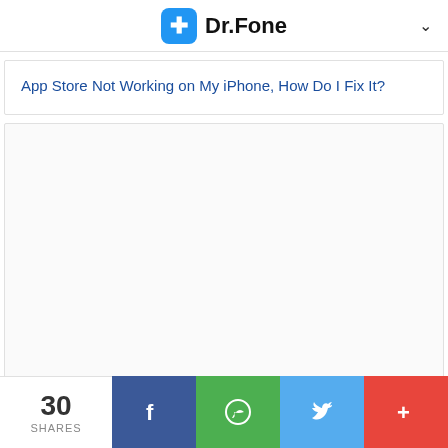Dr.Fone
App Store Not Working on My iPhone, How Do I Fix It?
[Figure (other): Empty white content area placeholder box]
30 SHARES — Facebook, WhatsApp, Twitter, More share buttons